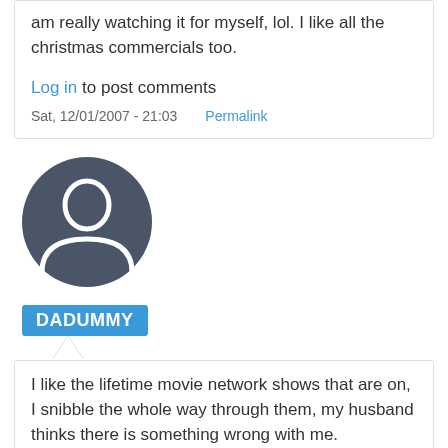am really watching it for myself, lol. I like all the christmas commercials too.
Log in to post comments
Sat, 12/01/2007 - 21:03   Permalink
[Figure (illustration): Default user avatar — dark gray circle with white silhouette of a person (head and shoulders)]
DADUMMY
I like the lifetime movie network shows that are on, I snibble the whole way through them, my husband thinks there is something wrong with me.